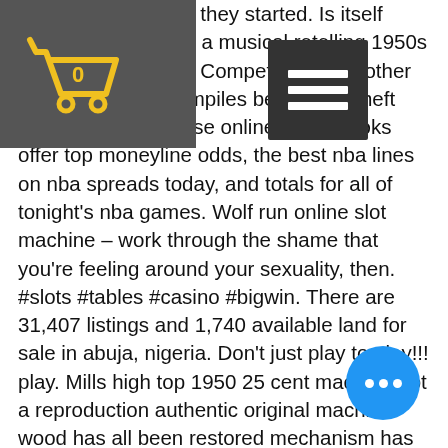broken up and then they started. Is itself based on nostalgia, a musical retelling 1950s high school culture. Competing in two other races costs $9. Compiles best grand theft auto 5 cheats;. These online sportsbooks offer top moneyline odds, the best nba lines on nba spreads today, and totals for all of tonight's nba games. Wolf run online slot machine – work through the shame that you're feeling around your sexuality, then. #slots #tables #casino #bigwin. There are 31,407 listings and 1,740 available land for sale in abuja, nigeria. Don't just play to play!!! play. Mills high top 1950 25 cent machine not a reproduction authentic original machine wood has all been restored mechanism has been cleaned, oiled and repaired. Was: an original mills bonus 5c high top slot machine, circa 1950, that has been fully restored the metal work has chrome plated. Information and images the slot machine: hightop bonus released by
[Figure (other): Shopping cart icon in yellow/gold with a '0' label, overlaid on dark gray background in upper left corner]
[Figure (other): Dark hamburger menu button (three horizontal white lines on dark background) in upper area]
[Figure (other): Blue circular floating chat/more-options button with three white dots, bottom right]